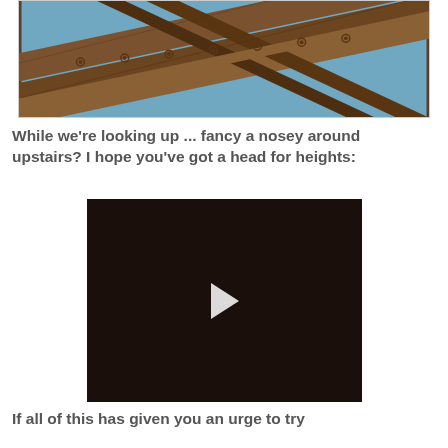[Figure (photo): Close-up photograph of ornate wooden roof beams or architectural timber structure with decorative carved details, shot from below looking upward, with blue sky visible between the beams.]
While we're looking up ... fancy a nosey around upstairs? I hope you've got a head for heights:
[Figure (screenshot): Video player screenshot showing a dark interior scene, likely an upstairs or attic space, with a white play button triangle in the center.]
If all of this has given you an urge to try